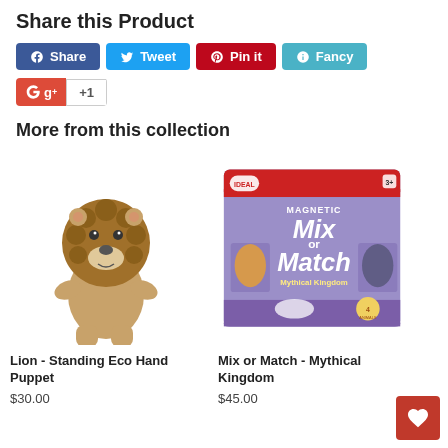Share this Product
Share | Tweet | Pin it | Fancy | g+ +1
More from this collection
[Figure (photo): Lion - Standing Eco Hand Puppet plush toy]
Lion - Standing Eco Hand Puppet
$30.00
[Figure (photo): Mix or Match - Mythical Kingdom game box]
Mix or Match - Mythical Kingdom
$45.00